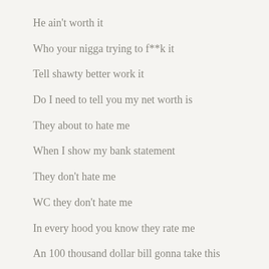He ain't worth it
Who your nigga trying to f**k it
Tell shawty better work it
Do I need to tell you my net worth is
They about to hate me
When I show my bank statement
They don't hate me
WC they don't hate me
In every hood you know they rate me
An 100 thousand dollar bill gonna take this
They can't take me